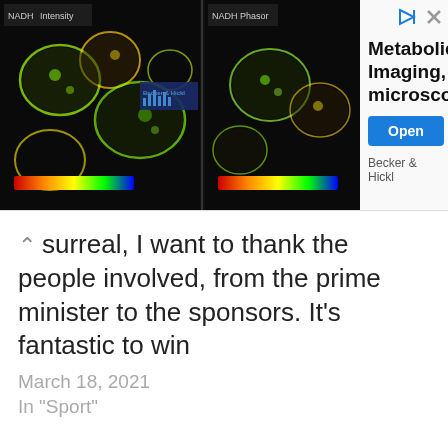[Figure (photo): Advertisement banner for Becker & Hickl metabolic imaging microscopy product. Left side shows fluorescence microscopy images of cells in green/yellow tones with color scale bars. Right side shows large bold text 'Metabolic Imaging, microscopy', a blue 'Open' button, and brand name 'Becker & Hickl'. Top right has play and close icons.]
surreal, I want to thank the people involved, from the prime minister to the sponsors. It's fantastic to win
March 18, 2021
In "Sport"